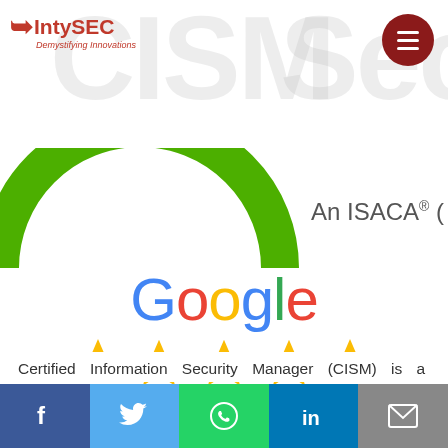[Figure (logo): IntySEC logo with red arrow and text 'Demystifying Innovations', CISM background text, dark red circular menu button]
[Figure (illustration): Green arc/smile shape at top left, partially visible]
An ISACA® (
[Figure (logo): Google logo in multicolor letters followed by five gold stars rating graphic, FIVE STAR CUSTOMER RATING text, Read Our Reviews link]
FIVE STAR
CUSTOMER RATING
Read Our Reviews
Certified  Information  Security  Manager  (CISM)  is  a
[Figure (infographic): Social media share bar: Facebook, Twitter, WhatsApp, LinkedIn, Email icons in colored blocks]